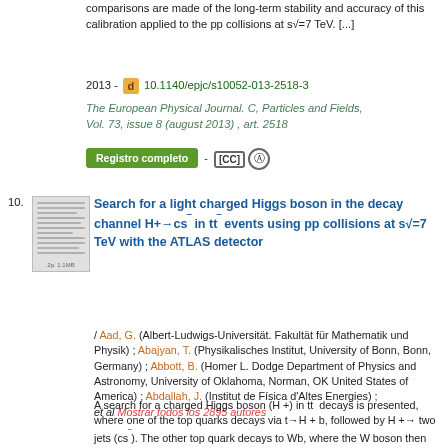comparisons are made of the long-term stability and accuracy of this calibration applied to the pp collisions at s√=7 TeV. [...]
2013 - 10.1140/epjc/s10052-013-2518-3
The European Physical Journal. C, Particles and Fields, Vol. 73, issue 8 (august 2013) , art. 2518
Registro completo - [CC] (i)
10. Search for a light charged Higgs boson in the decay channel H+→cs¯ in tt¯ events using pp collisions at s√=7 TeV with the ATLAS detector
/ Aad, G. (Albert-Ludwigs-Universität. Fakultät für Mathematik und Physik) ; Abajyan, T. (Physikalisches Institut, University of Bonn, Bonn, Germany) ; Abbott, B. (Homer L. Dodge Department of Physics and Astronomy, University of Oklahoma, Norman, OK United States of America) ; Abdallah, J. (Institut de Física d'Altes Energies) ; et al Mostrar todos los 2895 autores
A search for a charged Higgs boson (H +) in tt¯ decays is presented, where one of the top quarks decays via t→H + b, followed by H +→ two jets (cs¯). The other top quark decays to Wb, where the W boson then decays into a lepton (e/μ) and a neutrino. [...]
2013 - 10.1140/epjc/s10052-013-2465-z
The European Physical Journal. C, Particles and Fields, Vol. 73, issue 6 (June 2013) , art. 2465
Registro completo - [CC] (i)